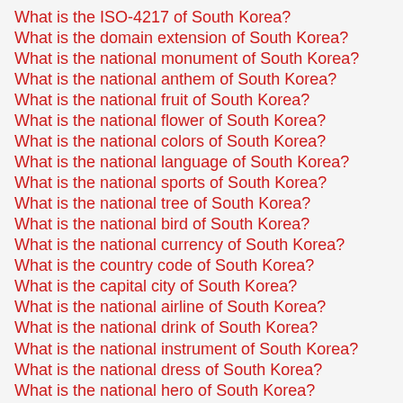What is the ISO-4217 of South Korea?
What is the domain extension of South Korea?
What is the national monument of South Korea?
What is the national anthem of South Korea?
What is the national fruit of South Korea?
What is the national flower of South Korea?
What is the national colors of South Korea?
What is the national language of South Korea?
What is the national sports of South Korea?
What is the national tree of South Korea?
What is the national bird of South Korea?
What is the national currency of South Korea?
What is the country code of South Korea?
What is the capital city of South Korea?
What is the national airline of South Korea?
What is the national drink of South Korea?
What is the national instrument of South Korea?
What is the national dress of South Korea?
What is the national hero of South Korea?
What is the national mausoleum of South Korea?
What is the nationality of South Korea?